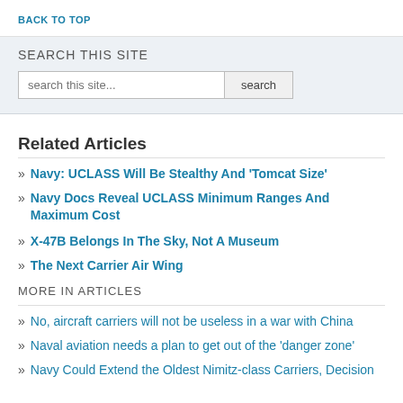BACK TO TOP
SEARCH THIS SITE
search this site... [search]
Related Articles
Navy: UCLASS Will Be Stealthy And ‘Tomcat Size’
Navy Docs Reveal UCLASS Minimum Ranges And Maximum Cost
X-47B Belongs In The Sky, Not A Museum
The Next Carrier Air Wing
MORE IN ARTICLES
No, aircraft carriers will not be useless in a war with China
Naval aviation needs a plan to get out of the ‘danger zone’
Navy Could Extend the Oldest Nimitz-class Carriers, Decision is Next